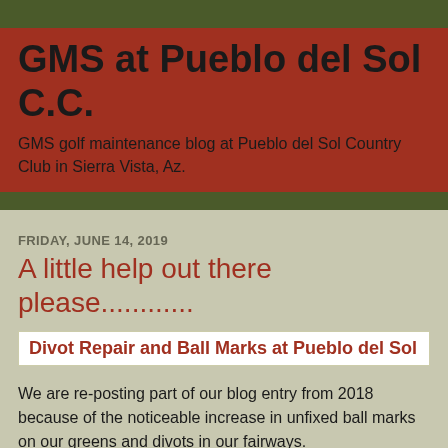GMS at Pueblo del Sol C.C.
GMS golf maintenance blog at Pueblo del Sol Country Club in Sierra Vista, Az.
FRIDAY, JUNE 14, 2019
A little help out there please............
Divot Repair and Ball Marks at Pueblo del Sol
We are re-posting part of our blog entry from 2018 because of the noticeable increase in unfixed ball marks on our greens and divots in our fairways.
DIVOTS IN FAIRWAYS
Since the start of March we have been seeing a lot of unrepaired